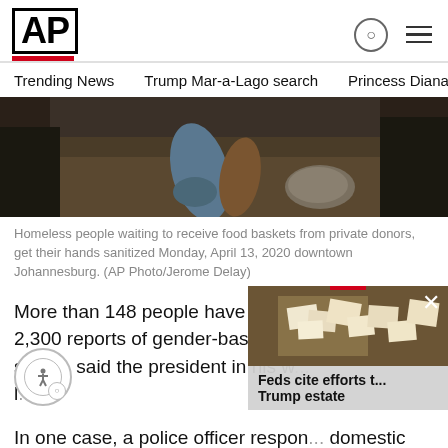AP
Trending News   Trump Mar-a-Lago search   Princess Diana's dea
[Figure (photo): Close-up photo showing hands being sanitized, person wearing blue gloves, ground visible]
Homeless people waiting to receive food baskets from private donors, get their hands sanitized Monday, April 13, 2020 downtown Johannesburg. (AP Photo/Jerome Delay)
More than 148 people have been arrested in 2,300 reports of gender-based violence si... sta...d, said the president in his wo... l...
[Figure (photo): Popup overlay showing Trump estate documents photo with caption: Feds cite efforts t... Trump estate]
In one case, a police officer respon... domestic violence was shot dead b...